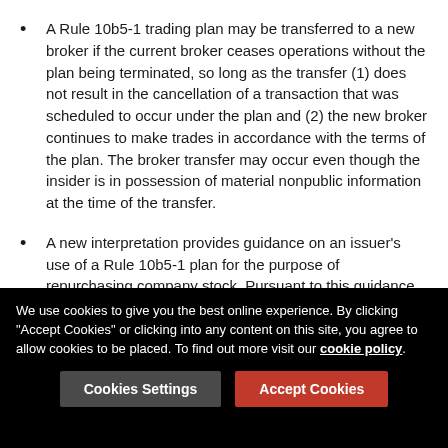A Rule 10b5-1 trading plan may be transferred to a new broker if the current broker ceases operations without the plan being terminated, so long as the transfer (1) does not result in the cancellation of a transaction that was scheduled to occur under the plan and (2) the new broker continues to make trades in accordance with the terms of the plan. The broker transfer may occur even though the insider is in possession of material nonpublic information at the time of the transfer.
A new interpretation provides guidance on an issuer's use of a Rule 10b5-1 plan for the purpose of repurchasing company stock. Pursuant to this guidance, it is not permissible for a Rule 10b5-1 repurchase plan to contain a provision designed to reduce the number of shares to be purchased pursuant to the plan based on
We use cookies to give you the best online experience. By clicking "Accept Cookies" or clicking into any content on this site, you agree to allow cookies to be placed. To find out more visit our cookie policy.